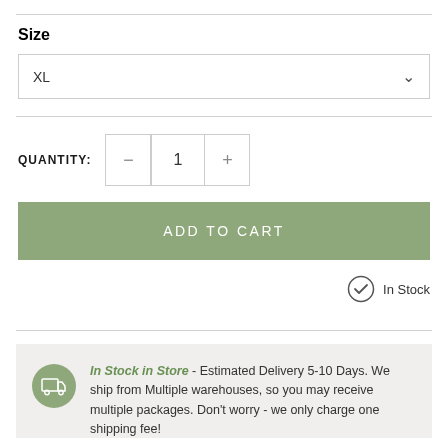Size
XL
QUANTITY: 1
ADD TO CART
In Stock
In Stock in Store - Estimated Delivery 5-10 Days. We ship from Multiple warehouses, so you may receive multiple packages. Don't worry - we only charge one shipping fee!